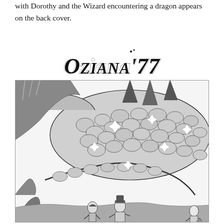with Dorothy and the Wizard encountering a dragon appears on the back cover.
[Figure (illustration): Oziana '77 masthead logo in ornate gothic/fantasy lettering]
[Figure (illustration): Black and white pen-and-ink illustration showing a large dragon (depicted as a massive coiled serpentine body with stone-like scales) looming over a landscape with trees and rocky terrain. In the lower foreground, small figures including Dorothy, the Wizard, and other characters are visible looking up at the creature.]